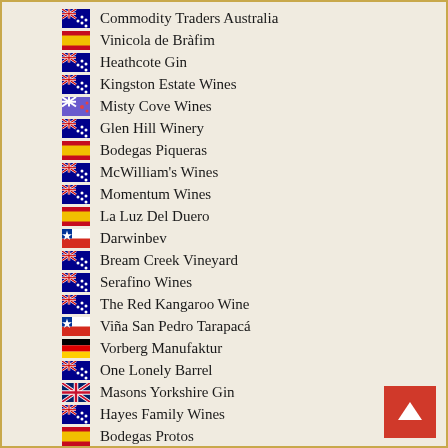Commodity Traders Australia
Vinicola de Bràfim
Heathcote Gin
Kingston Estate Wines
Misty Cove Wines
Glen Hill Winery
Bodegas Piqueras
McWilliam's Wines
Momentum Wines
La Luz Del Duero
Darwinbev
Bream Creek Vineyard
Serafino Wines
The Red Kangaroo Wine
Viña San Pedro Tarapacá
Vorberg Manufaktur
One Lonely Barrel
Masons Yorkshire Gin
Hayes Family Wines
Bodegas Protos